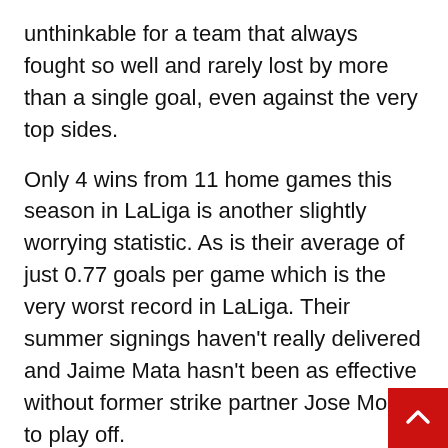unthinkable for a team that always fought so well and rarely lost by more than a single goal, even against the very top sides.
Only 4 wins from 11 home games this season in LaLiga is another slightly worrying statistic. As is their average of just 0.77 goals per game which is the very worst record in LaLiga. Their summer signings haven't really delivered and Jaime Mata hasn't been as effective without former strike partner Jose Molina to play off.
As for Real Sociedad, they produced a strong display to emphatically end a poor run of results last time out as they cruised to a 4-1 home win against Cadiz. Braces from Mikel Oyarzabal and Alexander Isak ensured a convincing victory which cemented the 6th place with a healthy advantage on the chasing